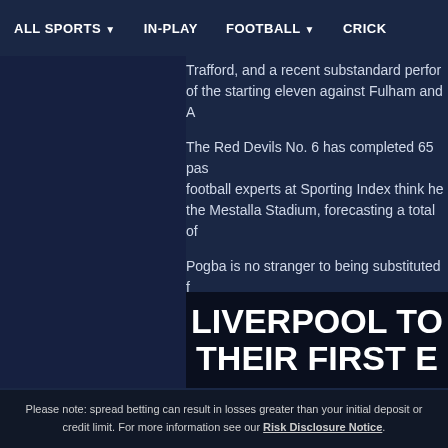ALL SPORTS ▾   IN-PLAY   FOOTBALL ▾   CRICK...
Trafford, and a recent substandard perfor... of the starting eleven against Fulham and A...
The Red Devils No. 6 has completed 65 pas... football experts at Sporting Index think he... the Mestalla Stadium, forecasting a total of...
Pogba is no stranger to being substituted f... earmarked for when Mourinho decides to s...
Ed Fulton, political trading spokesman for S... well for Man United this season, and the sp... during his time with the Red Devils.
"We can see him being substituted in the 8... freekicks and having just one shot on targe...
LIVERPOOL PREDICTED TO WIN FIRST E...
At Premier League halfway point, Sporting Inde...
[Figure (photo): Image with text: LIVERPOOL TO THEIR FIRST E...]
Please note: spread betting can result in losses greater than your initial deposit or credit limit. For more information see our Risk Disclosure Notice